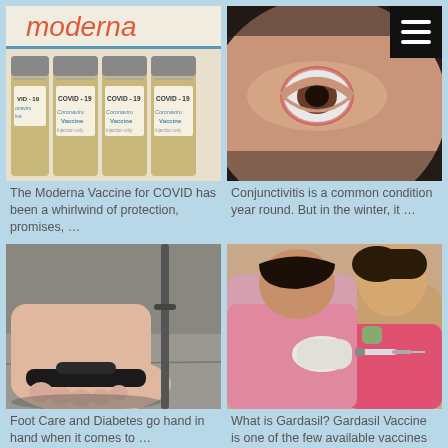[Figure (photo): Moderna COVID-19 Coronavirus Vaccine vials arranged in a row, with the Moderna logo visible in red at the top]
The Moderna Vaccine for COVID has been a whirlwind of protection, promises, …
[Figure (photo): Close-up of a child's eye showing conjunctivitis symptoms, with a black hamburger menu icon in the top right corner]
Conjunctivitis is a common condition year round. But in the winter, it …
[Figure (photo): Close-up of swollen feet in sandals resting on pavement next to a crutch, illustrating diabetic foot care]
Foot Care and Diabetes go hand in hand when it comes to …
[Figure (photo): A healthcare worker in gloves administering an injection (Gardasil vaccine) to a child's arm]
What is Gardasil? Gardasil Vaccine is one of the few available vaccines for …